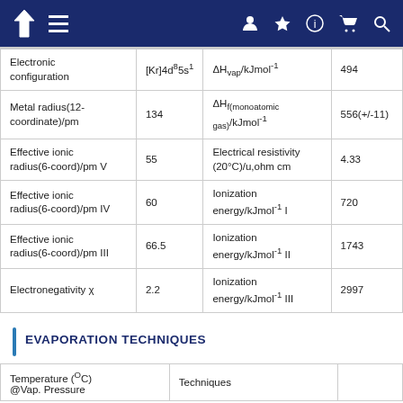Navigation header with logo, menu, user, bookmark, info, cart, search icons
|  |  |  |  |
| --- | --- | --- | --- |
| Electronic configuration | [Kr]4d⁸ 5s¹ | ΔHᵥₐₙ/kJmol⁻¹ | 494 |
| Metal radius(12-coordinate)/pm | 134 | ΔHᶠ(monoatomic gas)/kJmol⁻¹ | 556(+/-11) |
| Effective ionic radius(6-coord)/pm V | 55 | Electrical resistivity (20°C)/u,ohm cm | 4.33 |
| Effective ionic radius(6-coord)/pm IV | 60 | Ionization energy/kJmol⁻¹ I | 720 |
| Effective ionic radius(6-coord)/pm III | 66.5 | Ionization energy/kJmol⁻¹ II | 1743 |
| Electronegativity χ | 2.2 | Ionization energy/kJmol⁻¹ III | 2997 |
EVAPORATION TECHNIQUES
| Temperature (°C) @Vap. Pressure | Techniques |
| --- | --- |